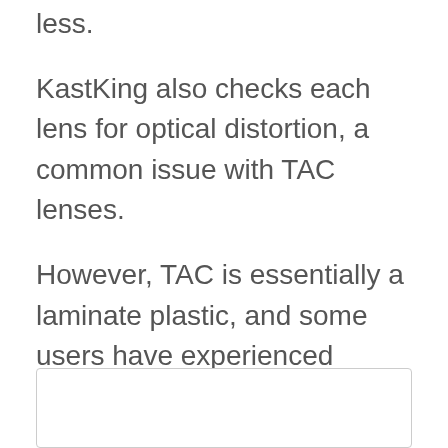less.
KastKing also checks each lens for optical distortion, a common issue with TAC lenses.
However, TAC is essentially a laminate plastic, and some users have experienced trouble with the lens coating wearing off--especially after exposure to saltwater.
[Figure (other): Empty outlined box/panel at the bottom of the page]